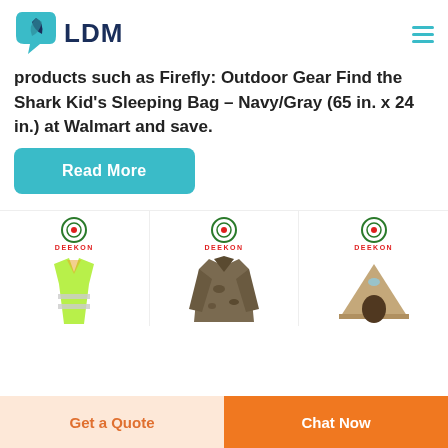[Figure (logo): LDM logo with teal leaf/speech bubble icon and dark blue bold LDM text]
products such as Firefly: Outdoor Gear Find the Shark Kid's Sleeping Bag - Navy/Gray (65 in. x 24 in.) at Walmart and save.
Read More
[Figure (photo): Three product images with DEEKON logo: a yellow safety vest, a camouflage military jacket, and a tan military tent]
Get a Quote
Chat Now